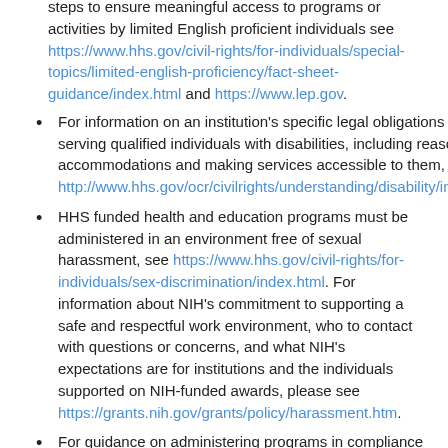steps to ensure meaningful access to programs or activities by limited English proficient individuals see https://www.hhs.gov/civil-rights/for-individuals/special-topics/limited-english-proficiency/fact-sheet-guidance/index.html and https://www.lep.gov.
For information on an institution's specific legal obligations for serving qualified individuals with disabilities, including reasonable accommodations and making services accessible to them, see http://www.hhs.gov/ocr/civilrights/understanding/disability/index.htm
HHS funded health and education programs must be administered in an environment free of sexual harassment, see https://www.hhs.gov/civil-rights/for-individuals/sex-discrimination/index.html. For information about NIH's commitment to supporting a safe and respectful work environment, who to contact with questions or concerns, and what NIH's expectations are for institutions and the individuals supported on NIH-funded awards, please see https://grants.nih.gov/grants/policy/harassment.htm.
For guidance on administering programs in compliance with applicable federal conscience protection and associated anti-discrimination laws see https://www.hhs.gov/conscience/conscience-